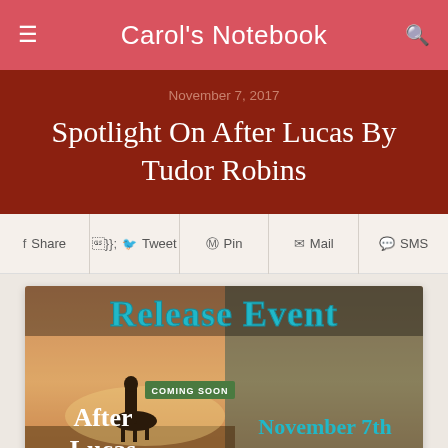Carol's Notebook
November 7, 2017
Spotlight On After Lucas By Tudor Robins
Share  Tweet  Pin  Mail  SMS
[Figure (illustration): Release Event promotional banner for the book 'After Lucas' by Tudor Robins, showing a rider on horseback at sunset, with text 'Release Event', 'Coming Soon', 'After Lucas', and 'November 7th']